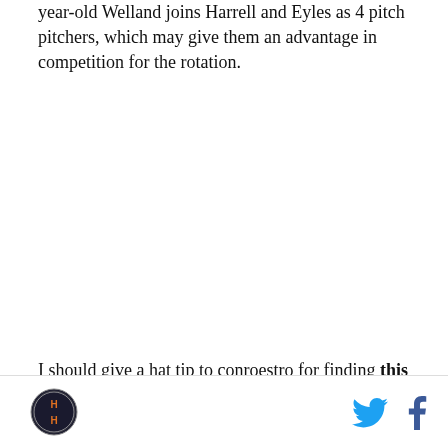year-old Welland joins Harrell and Eyles as 4 pitch pitchers, which may give them an advantage in competition for the rotation.
I should give a hat tip to conroestro for finding this
[Logo] [Twitter icon] [Facebook icon]